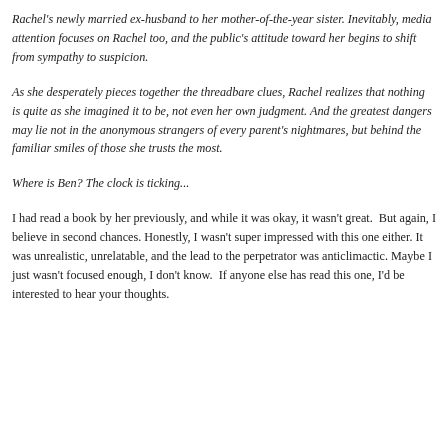Rachel's newly married ex-husband to her mother-of-the-year sister. Inevitably, media attention focuses on Rachel too, and the public's attitude toward her begins to shift from sympathy to suspicion.
As she desperately pieces together the threadbare clues, Rachel realizes that nothing is quite as she imagined it to be, not even her own judgment. And the greatest dangers may lie not in the anonymous strangers of every parent's nightmares, but behind the familiar smiles of those she trusts the most.
Where is Ben? The clock is ticking...
I had read a book by her previously, and while it was okay, it wasn't great.  But again, I believe in second chances. Honestly, I wasn't super impressed with this one either. It was unrealistic, unrelatable, and the lead to the perpetrator was anticlimactic. Maybe I just wasn't focused enough, I don't know.  If anyone else has read this one, I'd be interested to hear your thoughts.